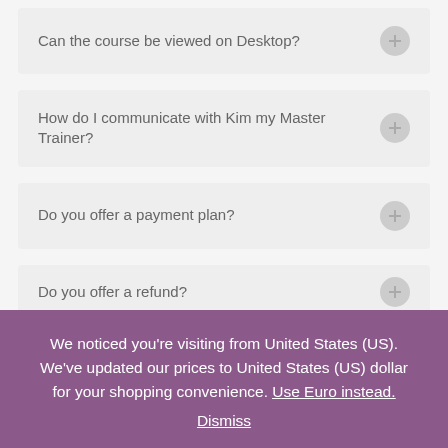Can the course be viewed on Desktop?
How do I communicate with Kim my Master Trainer?
Do you offer a payment plan?
Do you offer a refund?
We noticed you're visiting from United States (US). We've updated our prices to United States (US) dollar for your shopping convenience. Use Euro instead. Dismiss